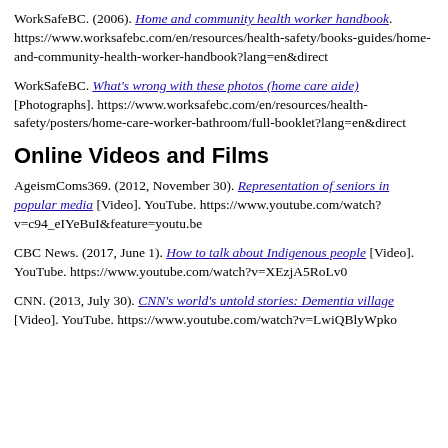WorkSafeBC. (2006). Home and community health worker handbook. https://www.worksafebc.com/en/resources/health-safety/books-guides/home-and-community-health-worker-handbook?lang=en&direct
WorkSafeBC. What's wrong with these photos (home care aide) [Photographs]. https://www.worksafebc.com/en/resources/health-safety/posters/home-care-worker-bathroom/full-booklet?lang=en&direct
Online Videos and Films
AgeismComs369. (2012, November 30). Representation of seniors in popular media [Video]. YouTube. https://www.youtube.com/watch?v=c94_eIYeBuI&feature=youtu.be
CBC News. (2017, June 1). How to talk about Indigenous people [Video]. YouTube. https://www.youtube.com/watch?v=XEzjA5RoLv0
CNN. (2013, July 30). CNN's world's untold stories: Dementia village [Video]. YouTube. https://www.youtube.com/watch?v=LwiQBlyWpko